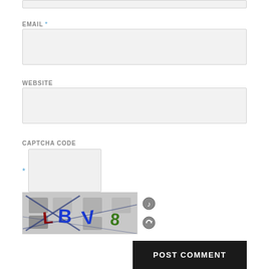EMAIL *
[Figure (other): Email input text field (empty, light grey background)]
WEBSITE
[Figure (other): Website input text field (empty, light grey background)]
CAPTCHA CODE
[Figure (other): CAPTCHA input field with blue asterisk and empty text box]
[Figure (other): CAPTCHA image showing distorted letters L B V 8 with grey blurred background squares, plus audio/refresh icons]
[Figure (other): POST COMMENT button, dark/black background with white bold uppercase text]